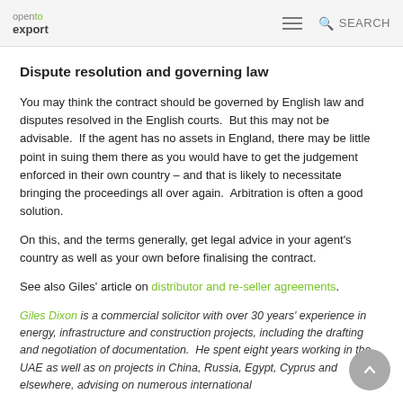open to export | SEARCH
Dispute resolution and governing law
You may think the contract should be governed by English law and disputes resolved in the English courts.  But this may not be advisable.  If the agent has no assets in England, there may be little point in suing them there as you would have to get the judgement enforced in their own country – and that is likely to necessitate bringing the proceedings all over again.  Arbitration is often a good solution.
On this, and the terms generally, get legal advice in your agent's country as well as your own before finalising the contract.
See also Giles' article on distributor and re-seller agreements.
Giles Dixon is a commercial solicitor with over 30 years' experience in energy, infrastructure and construction projects, including the drafting and negotiation of documentation.  He spent eight years working in the UAE as well as on projects in China, Russia, Egypt, Cyprus and elsewhere, advising on numerous international